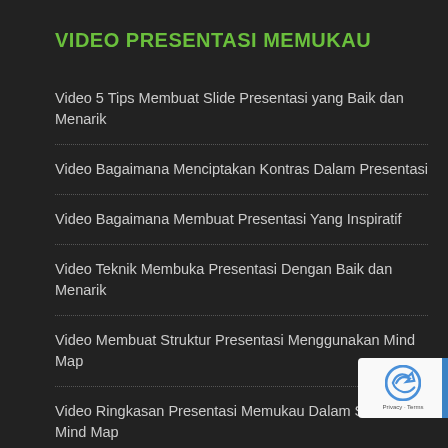VIDEO PRESENTASI MEMUKAU
Video 5 Tips Membuat Slide Presentasi yang Baik dan Menarik
Video Bagaimana Menciptakan Kontras Dalam Presentasi
Video Bagaimana Membuat Presentasi Yang Inspiratif
Video Teknik Membuka Presentasi Dengan Baik dan Menarik
Video Membuat Struktur Presentasi Menggunakan Mind Map
Video Ringkasan Presentasi Memukau Dalam Sebuah Mind Map